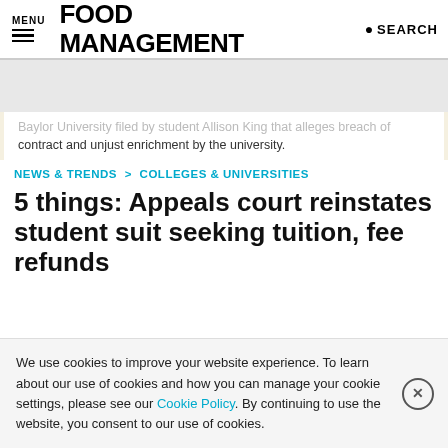MENU | FOOD MANAGEMENT | SEARCH
Baylor University filed by student Allison King that alleges breach of contract and unjust enrichment by the university.
NEWS & TRENDS > COLLEGES & UNIVERSITIES
5 things: Appeals court reinstates student suit seeking tuition, fee refunds
We use cookies to improve your website experience. To learn about our use of cookies and how you can manage your cookie settings, please see our Cookie Policy. By continuing to use the website, you consent to our use of cookies.